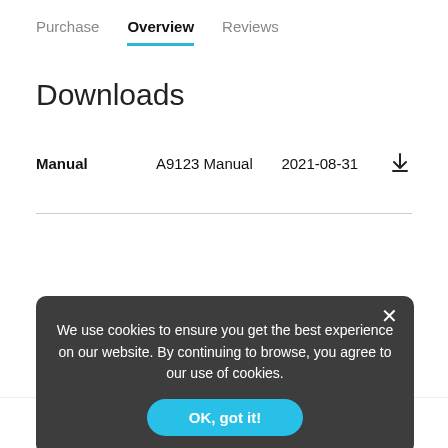Purchase  Overview  Reviews
Downloads
| Type | Name | Date | Action |
| --- | --- | --- | --- |
| Manual | A9123 Manual | 2021-08-31 | ↓ |
We use cookies to ensure you get the best experience on our website. By continuing to browse, you agree to our use of cookies.
OK, got it!
$14.99   Add to cart   Buy it now